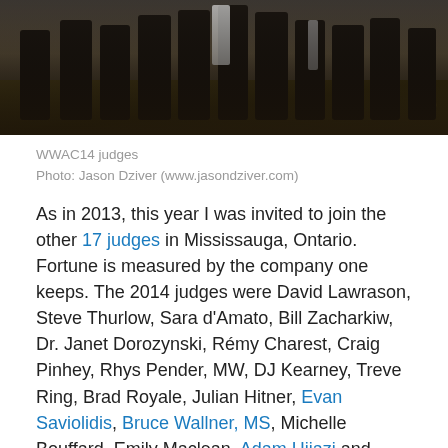[Figure (photo): Group photo of WWAC14 judges, cropped at top, dark background with patterned carpet visible]
WWAC14 judges
Photo: Jason Dziver (www.jasondziver.com)
As in 2013, this year I was invited to join the other 17 judges in Mississauga, Ontario. Fortune is measured by the company one keeps. The 2014 judges were David Lawrason, Steve Thurlow, Sara d'Amato, Bill Zacharkiw, Dr. Janet Dorozynski, Rémy Charest, Craig Pinhey, Rhys Pender, MW, DJ Kearney, Treve Ring, Brad Royale, Julian Hitner, Evan Saviolidis, Bruce Wallner, MS, Michelle Bouffard, Emily Maclean, Adam Hijazi and Jake Lewis.
Released today, here are the results from #WWAC14, presented by WineAlign. Wines were awarded for